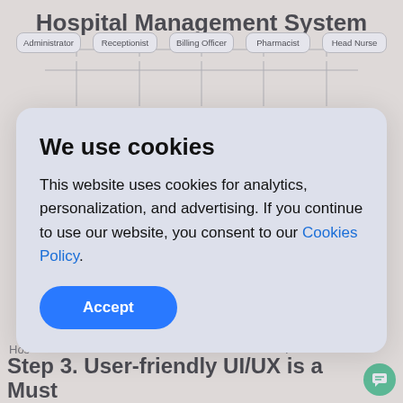Hospital Management System
[Figure (organizational-chart): Organizational chart showing Hospital Management System with roles: Administrator, Receptionist, Billing Officer, Pharmacist, Head Nurse in top row; System M[anagement], Patient, Pharmacy Bills, Manage, Patient History in second row]
Hos
[Figure (other): Cookie consent modal overlay with title 'We use cookies', body text about analytics/personalization/advertising, link to Cookies Policy, and Accept button]
Step 3. User-friendly UI/UX is a Must